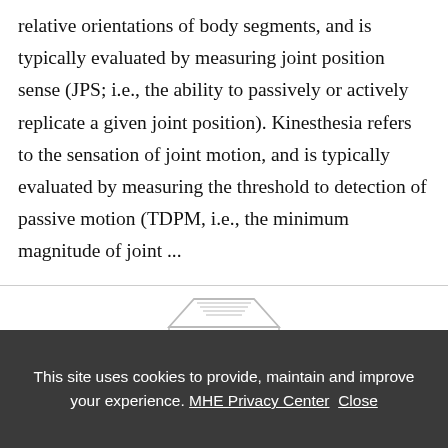relative orientations of body segments, and is typically evaluated by measuring joint position sense (JPS; i.e., the ability to passively or actively replicate a given joint position). Kinesthesia refers to the sensation of joint motion, and is typically evaluated by measuring the threshold to detection of passive motion (TDPM, i.e., the minimum magnitude of joint ...
[Figure (illustration): Partial view of a classical building/institution illustration (columns and pediment), likely a publisher or institution logo, partially visible at the bottom of the main content area.]
This site uses cookies to provide, maintain and improve your experience. MHE Privacy Center  Close